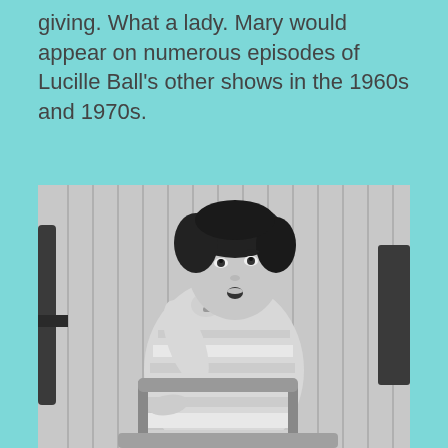giving. What a lady. Mary would appear on numerous episodes of Lucille Ball's other shows in the 1960s and 1970s.
[Figure (photo): Black and white photograph of a woman with short curly dark hair, wearing a striped top and necklace, seated and posing with her hand raised to her chin, looking upward with a surprised expression.]